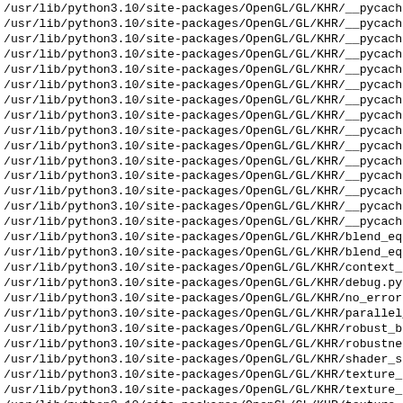/usr/lib/python3.10/site-packages/OpenGL/GL/KHR/__pycache
/usr/lib/python3.10/site-packages/OpenGL/GL/KHR/__pycache
/usr/lib/python3.10/site-packages/OpenGL/GL/KHR/__pycache
/usr/lib/python3.10/site-packages/OpenGL/GL/KHR/__pycache
/usr/lib/python3.10/site-packages/OpenGL/GL/KHR/__pycache
/usr/lib/python3.10/site-packages/OpenGL/GL/KHR/__pycache
/usr/lib/python3.10/site-packages/OpenGL/GL/KHR/__pycache
/usr/lib/python3.10/site-packages/OpenGL/GL/KHR/__pycache
/usr/lib/python3.10/site-packages/OpenGL/GL/KHR/__pycache
/usr/lib/python3.10/site-packages/OpenGL/GL/KHR/__pycache
/usr/lib/python3.10/site-packages/OpenGL/GL/KHR/__pycache
/usr/lib/python3.10/site-packages/OpenGL/GL/KHR/__pycache
/usr/lib/python3.10/site-packages/OpenGL/GL/KHR/__pycache
/usr/lib/python3.10/site-packages/OpenGL/GL/KHR/__pycache
/usr/lib/python3.10/site-packages/OpenGL/GL/KHR/__pycache
/usr/lib/python3.10/site-packages/OpenGL/GL/KHR/blend_equ
/usr/lib/python3.10/site-packages/OpenGL/GL/KHR/blend_equ
/usr/lib/python3.10/site-packages/OpenGL/GL/KHR/context_t
/usr/lib/python3.10/site-packages/OpenGL/GL/KHR/debug.py
/usr/lib/python3.10/site-packages/OpenGL/GL/KHR/no_error
/usr/lib/python3.10/site-packages/OpenGL/GL/KHR/parallel_
/usr/lib/python3.10/site-packages/OpenGL/GL/KHR/robust_bu
/usr/lib/python3.10/site-packages/OpenGL/GL/KHR/robustnes
/usr/lib/python3.10/site-packages/OpenGL/GL/KHR/shader_su
/usr/lib/python3.10/site-packages/OpenGL/GL/KHR/texture_c
/usr/lib/python3.10/site-packages/OpenGL/GL/KHR/texture_c
/usr/lib/python3.10/site-packages/OpenGL/GL/KHR/texture_c
/usr/lib/python3.10/site-packages/OpenGL/GL/MESA
/usr/lib/python3.10/site-packages/OpenGL/GL/MESA/__init_
/usr/lib/python3.10/site-packages/OpenGL/GL/MESA/__pycache